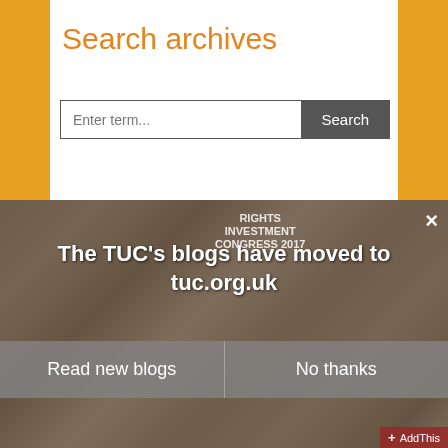Search archives
Enter term...
Search
[Figure (photo): Group photo of TUC congress attendees with 'RIGHTS INVESTMENT CONGRESS 2017' banner visible in background. A modal dialog overlays the photo.]
The TUC's blogs have moved to tuc.org.uk
Read new blogs
No thanks
AddThis